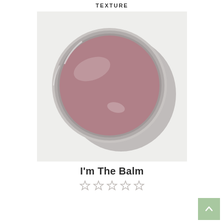TEXTURE
[Figure (photo): Top-down view of an open round metal tin containing a smooth mauve/dusty rose colored lip balm, photographed on a white background with a shadow to the right.]
I'm The Balm
☆☆☆☆☆ (5 empty star rating)